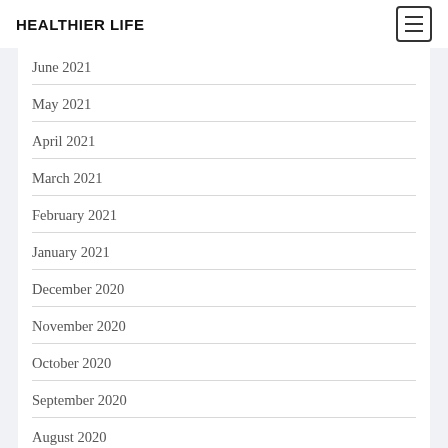HEALTHIER LIFE
June 2021
May 2021
April 2021
March 2021
February 2021
January 2021
December 2020
November 2020
October 2020
September 2020
August 2020